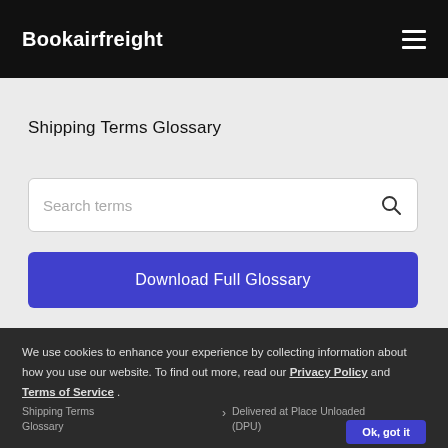Bookairfreight
Shipping Terms Glossary
[Figure (other): Search input field with placeholder text 'Search terms' and a magnifying glass icon on the right]
Download Full Glossary
We use cookies to enhance your experience by collecting information about how you use our website. To find out more, read our Privacy Policy and Terms of Service .
Shipping Terms Glossary  >  Delivered at Place Unloaded (DPU)
Ok, got it